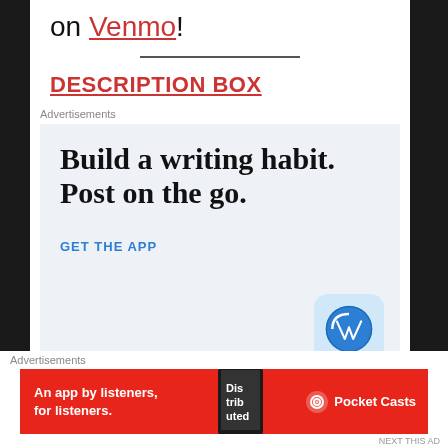on Venmo!
DESCRIPTION BOX
Advertisements
[Figure (infographic): WordPress app advertisement: 'Build a writing habit. Post on the go.' with a GET THE APP call to action and WordPress logo.]
Advertisements
[Figure (infographic): Pocket Casts advertisement: 'An app by listeners, for listeners.' with red background and Pocket Casts logo.]